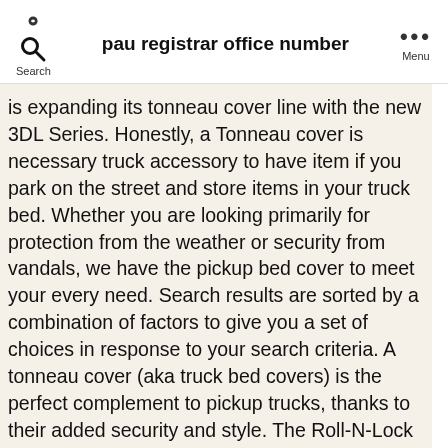pau registrar office number
is expanding its tonneau cover line with the new 3DL Series. Honestly, a Tonneau cover is necessary truck accessory to have item if you park on the street and store items in your truck bed. Whether you are looking primarily for protection from the weather or security from vandals, we have the pickup bed cover to meet your every need. Search results are sorted by a combination of factors to give you a set of choices in response to your search criteria. A tonneau cover (aka truck bed covers) is the perfect complement to pickup trucks, thanks to their added security and style. The Roll-N-Lock retractable truck bed cover…by far the most intelligent and versatile tonneau cover made for the Northwest. Pickup Truck Bed Covers in Hickory on YP.com. With our knowledgeable product staff and fast free shipping, we can get products to you very quickly and guarantee them at the lowest prices. More than 85 years ago, the National Automotive Parts Association (NAPA) was created to meet America's